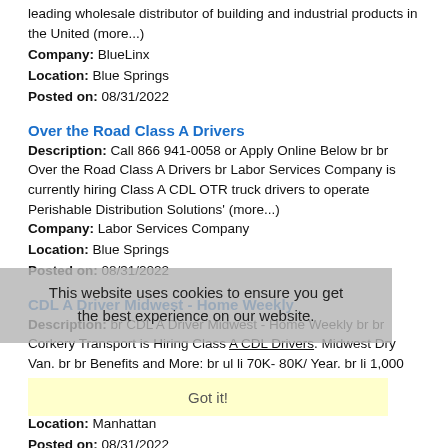leading wholesale distributor of building and industrial products in the United (more...)
Company: BlueLinx
Location: Blue Springs
Posted on: 08/31/2022
Over the Road Class A Drivers
Description: Call 866 941-0058 or Apply Online Below br br Over the Road Class A Drivers br Labor Services Company is currently hiring Class A CDL OTR truck drivers to operate Perishable Distribution Solutions' (more...)
Company: Labor Services Company
Location: Blue Springs
Posted on: 08/31/2022
CDL A Driver Midwest - Home Weekly
Description: br CDL A Driver Midwest - Home Weekly br br Corkery Transport is Hiring Class A CDL Drivers. Midwest Dry Van. br br Benefits and More: br ul li 70K- 80K/ Year. br li 1,000 Driver (more...)
Company: Corkery Transport Inc
Location: Manhattan
Posted on: 08/31/2022